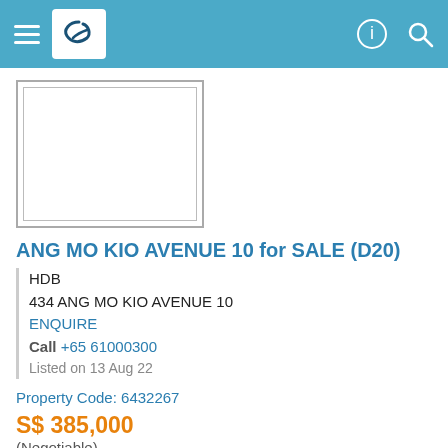Navigation header with logo and icons
[Figure (photo): Property image placeholder with double border frame]
ANG MO KIO AVENUE 10 for SALE (D20)
HDB
434 ANG MO KIO AVENUE 10
ENQUIRE
Call +65 61000300
Listed on 13 Aug 22
Property Code: 6432267
S$ 385,000
(Negotiable)